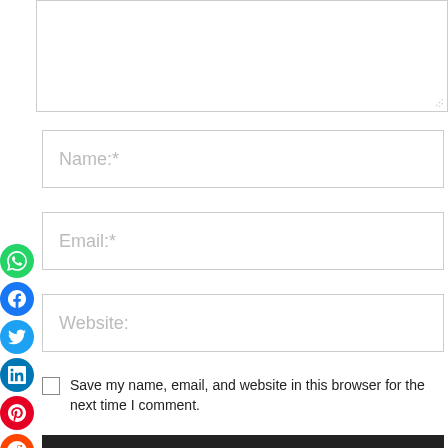[Figure (screenshot): Comment form with textarea, name/email/website input fields, save checkbox, post comment button, and social sharing icons on the left side including WhatsApp, Facebook, Twitter, LinkedIn, Pinterest, Reddit, Email, and Print icons. Below is a Recent Posts section header.]